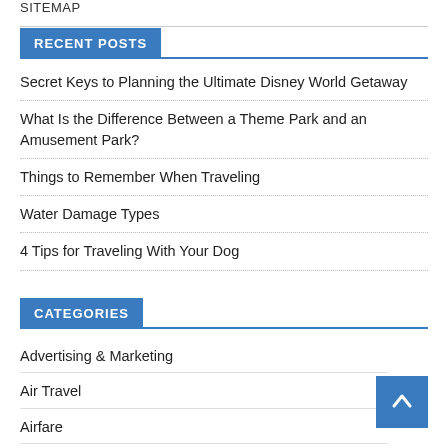SITEMAP
RECENT POSTS
Secret Keys to Planning the Ultimate Disney World Getaway
What Is the Difference Between a Theme Park and an Amusement Park?
Things to Remember When Traveling
Water Damage Types
4 Tips for Traveling With Your Dog
CATEGORIES
Advertising & Marketing
Air Travel
Airfare
Airline Tickets